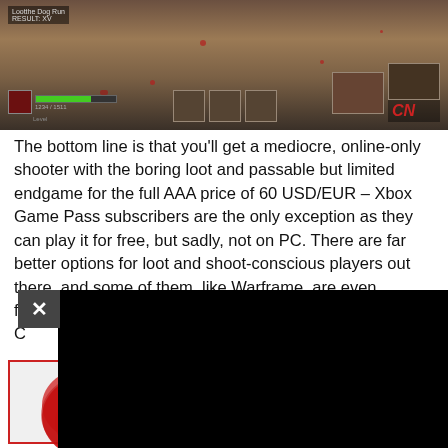[Figure (screenshot): Video game screenshot showing a horseback combat scene with HUD elements including health bar, skill icons, minimap, and CN logo watermark in top-right corner.]
The bottom line is that you'll get a mediocre, online-only shooter with the boring loot and passable but limited endgame for the full AAA price of 60 USD/EUR – Xbox Game Pass subscribers are the only exception as they can play it for free, but sadly, not on PC. There are far better options for loot and shoot-conscious players out there, and some of them, like Warframe, are even free(2p... advise a hard pass for ol' C...
[Figure (screenshot): Black popup/video overlay with an X close button in the top-left corner of the popup.]
[Figure (other): Score rating box with red blob containing white text '5/10' on a light gray background with red border.]